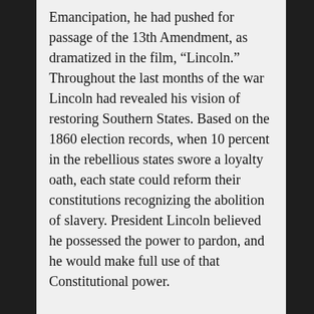Emancipation, he had pushed for passage of the 13th Amendment, as dramatized in the film, “Lincoln.” Throughout the last months of the war Lincoln had revealed his vision of restoring Southern States. Based on the 1860 election records, when 10 percent in the rebellious states swore a loyalty oath, each state could reform their constitutions recognizing the abolition of slavery. President Lincoln believed he possessed the power to pardon, and he would make full use of that Constitutional power.
Legally speaking, President Lincoln viewed secession as an attempt to leave the Union, and that attempt had failed. The Chief Executive would pardon the ring